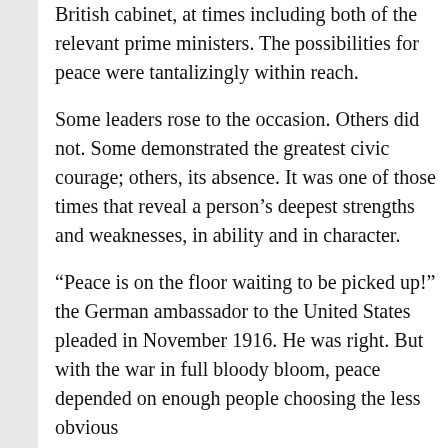British cabinet, at times including both of the relevant prime ministers. The possibilities for peace were tantalizingly within reach.
Some leaders rose to the occasion. Others did not. Some demonstrated the greatest civic courage; others, its absence. It was one of those times that reveal a person’s deepest strengths and weaknesses, in ability and in character.
“Peace is on the floor waiting to be picked up!” the German ambassador to the United States pleaded in November 1916. He was right. But with the war in full bloody bloom, peace depended on enough people choosing the less obvious